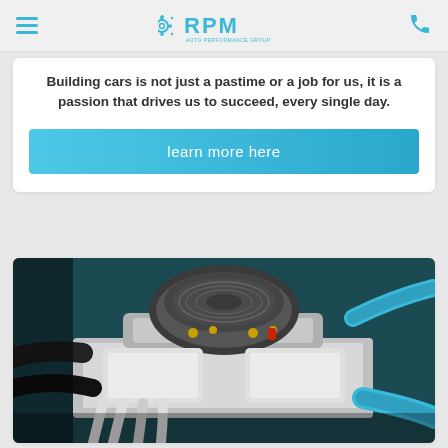RPM (logo with gear icon and phone icon)
Building cars is not just a pastime or a job for us, it is a passion that drives us to succeed, every single day.
learn more here
[Figure (photo): Close-up photograph of a classic car engine with chrome parts, carburetor air filter on top, blue hoses, and gold fuel fittings against a teal engine bay]